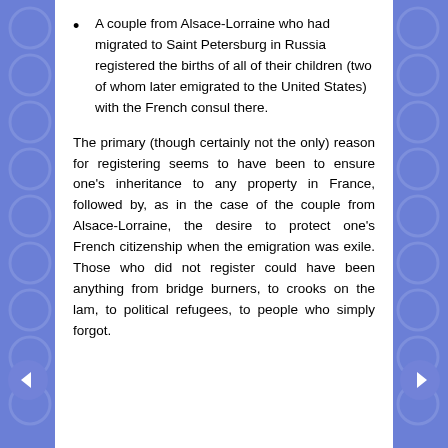A couple from Alsace-Lorraine who had migrated to Saint Petersburg in Russia registered the births of all of their children (two of whom later emigrated to the United States) with the French consul there.
The primary (though certainly not the only) reason for registering seems to have been to ensure one's inheritance to any property in France, followed by, as in the case of the couple from Alsace-Lorraine, the desire to protect one's French citizenship when the emigration was exile. Those who did not register could have been anything from bridge burners, to crooks on the lam, to political refugees, to people who simply forgot.